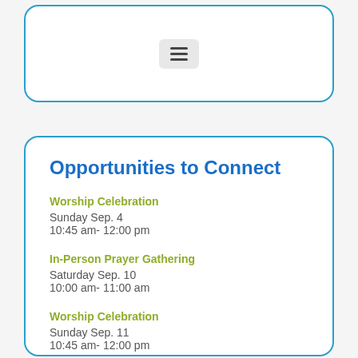[Figure (screenshot): Top card with hamburger menu icon on light gray background, inside a rounded blue-bordered box]
Opportunities to Connect
Worship Celebration
Sunday Sep. 4
10:45 am- 12:00 pm
In-Person Prayer Gathering
Saturday Sep. 10
10:00 am- 11:00 am
Worship Celebration
Sunday Sep. 11
10:45 am- 12:00 pm